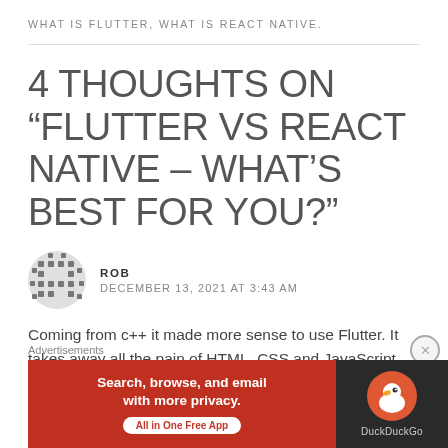WHAT IS FLUTTER, WHAT IS REACT NATIVE.
4 THOUGHTS ON “FLUTTER VS REACT NATIVE – WHAT’S BEST FOR YOU?”
ROB
DECEMBER 13, 2021 AT 3:43 AM
Coming from c++ it made more sense to use Flutter. It takes away all the pain of HTML, CSS and JavaScript and
Advertisements
[Figure (other): DuckDuckGo advertisement banner: Search, browse, and email with more privacy. All in One Free App.]